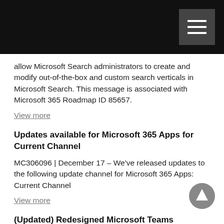allow Microsoft Search administrators to create and modify out-of-the-box and custom search verticals in Microsoft Search. This message is associated with Microsoft 365 Roadmap ID 85657.
View more
Updates available for Microsoft 365 Apps for Current Channel
MC306096 | December 17 – We've released updates to the following update channel for Microsoft 365 Apps: Current Channel
View more
(Updated) Redesigned Microsoft Teams Store Experience
MC298022 | December 16 – Updated December